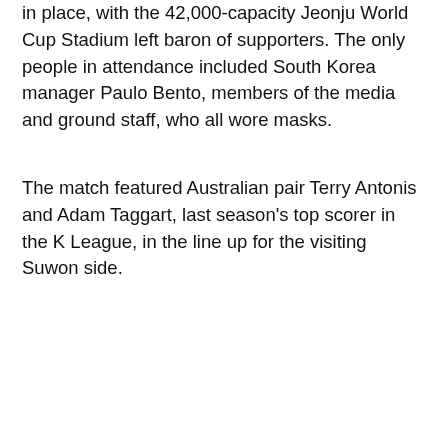in place, with the 42,000-capacity Jeonju World Cup Stadium left baron of supporters. The only people in attendance included South Korea manager Paulo Bento, members of the media and ground staff, who all wore masks.
The match featured Australian pair Terry Antonis and Adam Taggart, last season's top scorer in the K League, in the line up for the visiting Suwon side.